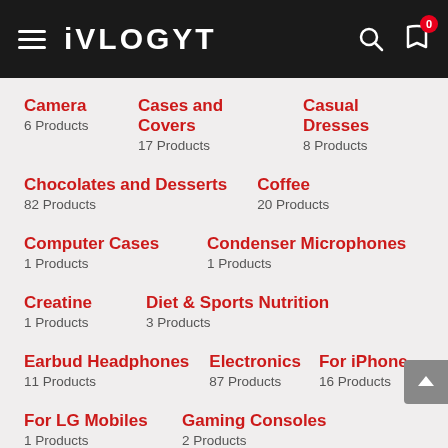iVLOGYT
Camera
6 Products
Cases and Covers
17 Products
Casual Dresses
8 Products
Chocolates and Desserts
82 Products
Coffee
20 Products
Computer Cases
1 Products
Condenser Microphones
1 Products
Creatine
1 Products
Diet & Sports Nutrition
3 Products
Earbud Headphones
11 Products
Electronics
87 Products
For iPhone
16 Products
For LG Mobiles
1 Products
Gaming Consoles
2 Products
Gaming Controllers
Gaming Mice